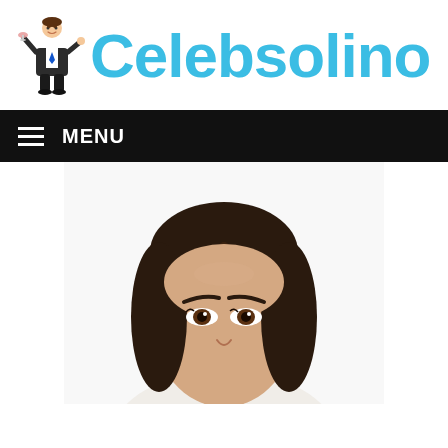Celebsolino
MENU
[Figure (photo): Top portion of a woman's face with dark hair against a white background, showing forehead, eyes, and nose area.]